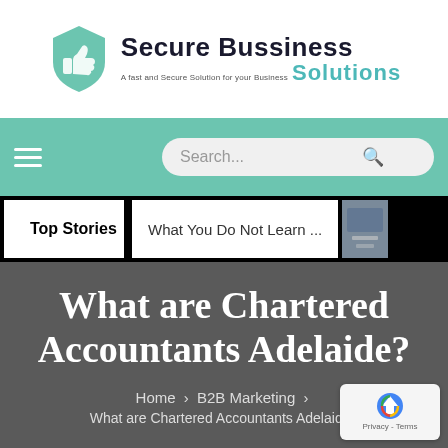[Figure (logo): Secure Bussiness Solutions logo with teal shield/hand icon and two-tone text]
Navigation bar with hamburger menu and search box
Top Stories | What You Do Not Learn ...
What are Chartered Accountants Adelaide?
Home > B2B Marketing > What are Chartered Accountants Adelaide?